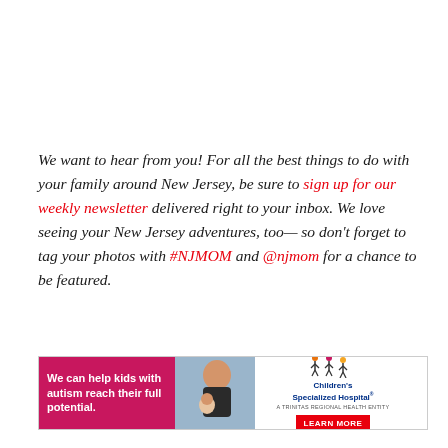We want to hear from you! For all the best things to do with your family around New Jersey, be sure to sign up for our weekly newsletter delivered right to your inbox. We love seeing your New Jersey adventures, too— so don't forget to tag your photos with #NJMOM and @njmom for a chance to be featured.
[Figure (infographic): Advertisement banner for Children's Specialized Hospital. Left pink section with white text: 'We can help kids with autism reach their full potential.' Center: photo of a child. Right: Children's Specialized Hospital logo with stick figures, tagline, and a red 'LEARN MORE' button.]